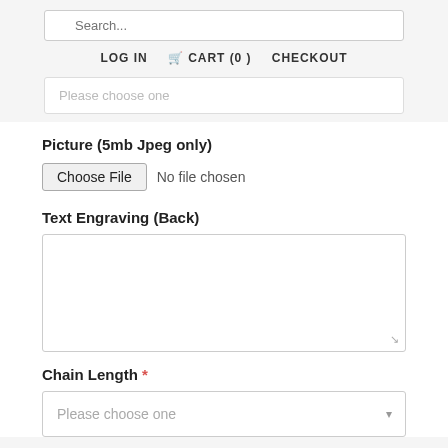Search... LOG IN CART (0) CHECKOUT
[Figure (screenshot): Partially visible dropdown select field with placeholder text 'Please choose one']
Picture (5mb Jpeg only)
[Figure (screenshot): File input showing 'Choose File' button and 'No file chosen' text]
Text Engraving (Back)
[Figure (screenshot): Empty textarea for text engraving input]
Chain Length *
[Figure (screenshot): Dropdown select field with placeholder 'Please choose one']